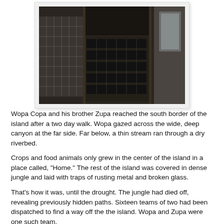[Figure (photo): A dark photograph showing industrial or mechanical equipment with grid/rack structures, lit from above with an orange glow, possibly a furnace or industrial machine interior.]
Wopa Copa and his brother Zupa reached the south border of the island after a two day walk. Wopa gazed across the wide, deep canyon at the far side. Far below, a thin stream ran through a dry riverbed.
Crops and food animals only grew in the center of the island in a place called, "Home." The rest of the island was covered in dense jungle and laid with traps of rusting metal and broken glass.
That's how it was, until the drought. The jungle had died off, revealing previously hidden paths. Sixteen teams of two had been dispatched to find a way off the the island. Wopa and Zupa were one such team.
"Looks deep," Wopa said.